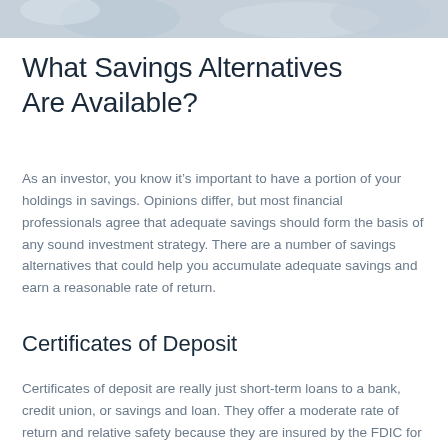[Figure (photo): Partial photo strip at top of page showing people, likely in a financial or professional context]
What Savings Alternatives Are Available?
As an investor, you know it's important to have a portion of your holdings in savings. Opinions differ, but most financial professionals agree that adequate savings should form the basis of any sound investment strategy. There are a number of savings alternatives that could help you accumulate adequate savings and earn a reasonable rate of return.
Certificates of Deposit
Certificates of deposit are really just short-term loans to a bank, credit union, or savings and loan. They offer a moderate rate of return and relative safety because they are insured by the FDIC for up to